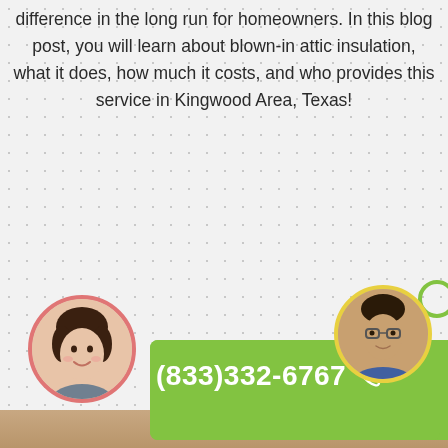difference in the long run for homeowners. In this blog post, you will learn about blown-in attic insulation, what it does, how much it costs, and who provides this service in Kingwood Area, Texas!
[Figure (infographic): A green call-to-action button showing phone number (833)332-6767 with a phone icon, flanked by circular avatar photos of a woman (pink border) and a man (yellow border)]